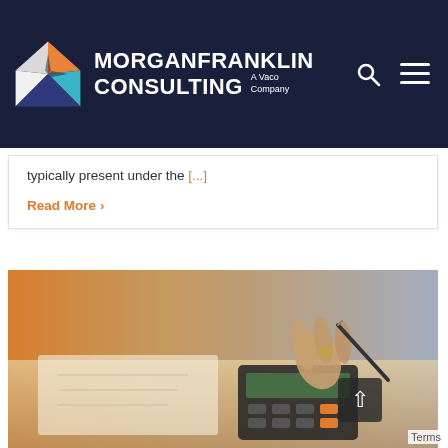[Figure (logo): MorganFranklin Consulting logo — diamond shape with orange, white, teal and dark navy triangles — with text 'MorganFranklin Consulting A Vaco Company' on dark navy header bar with search and menu icons]
typically present under the [...]
Read More >
[Figure (photo): Close-up photo of a person's hand holding a pen over a calculator on a desk with open notebooks/papers, warm orange-lit background]